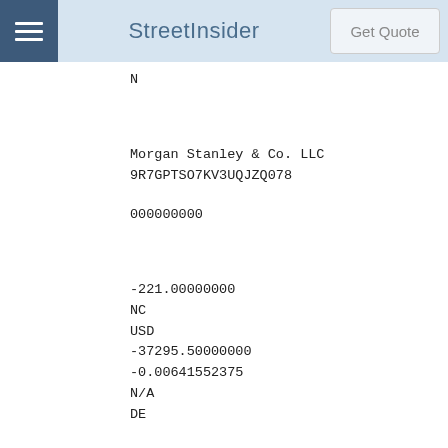StreetInsider
N
Morgan Stanley & Co. LLC
9R7GPTSO7KV3UQJZQ078
000000000
-221.00000000
NC
USD
-37295.50000000
-0.00641552375
N/A
DE
US
N
2